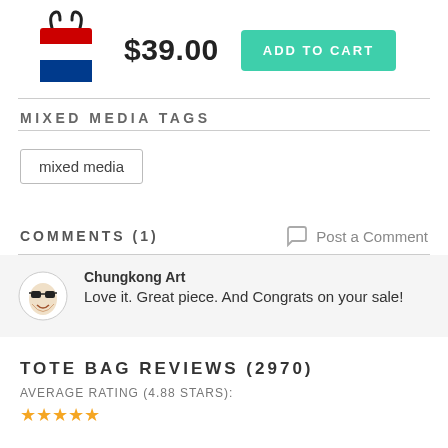[Figure (photo): Tote bag with Netherlands flag design (red, white, blue horizontal stripes)]
$39.00
ADD TO CART
MIXED MEDIA TAGS
mixed media
COMMENTS (1)
Post a Comment
Chungkong Art
Love it. Great piece. And Congrats on your sale!
TOTE BAG REVIEWS (2970)
AVERAGE RATING (4.88 STARS):